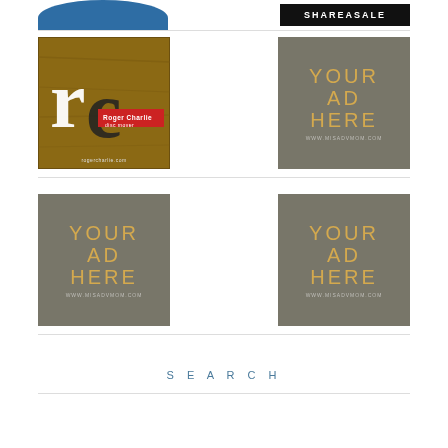[Figure (logo): Partial blue logo at top left, cropped]
[Figure (logo): ShareASale logo - black background with white bold text]
[Figure (logo): Roger Charlie disc mover logo on wood background]
[Figure (other): Your Ad Here placeholder - grey background with gold text, www.misadvmom.com]
[Figure (other): Your Ad Here placeholder - grey background with gold text, www.misadvmom.com]
[Figure (other): Your Ad Here placeholder - grey background with gold text, www.misadvmom.com]
SEARCH